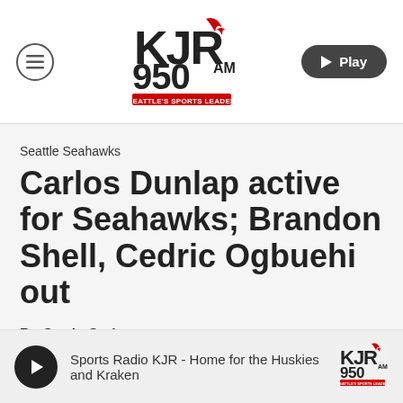[Figure (logo): KJR 950 AM Seattle's Sports Leader radio station logo with red devil/flame icon]
Seattle Seahawks
Carlos Dunlap active for Seahawks; Brandon Shell, Cedric Ogbuehi out
By Curtis Crabtree
[Figure (logo): Audio player bar: Sports Radio KJR - Home for the Huskies and Kraken, with KJR 950 AM logo]